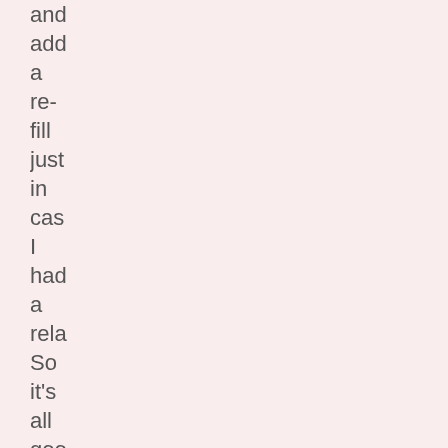and add a re-fill just in case I had a rela So it's all good now I can drin any mo cra